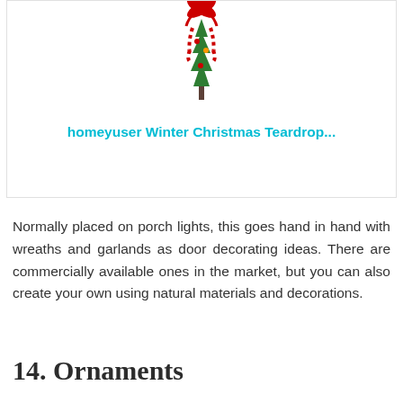[Figure (illustration): Christmas teardrop swag decoration with red ribbon, candy canes, and evergreen branches]
homeyuser Winter Christmas Teardrop...
Normally placed on porch lights, this goes hand in hand with wreaths and garlands as door decorating ideas. There are commercially available ones in the market, but you can also create your own using natural materials and decorations.
14. Ornaments